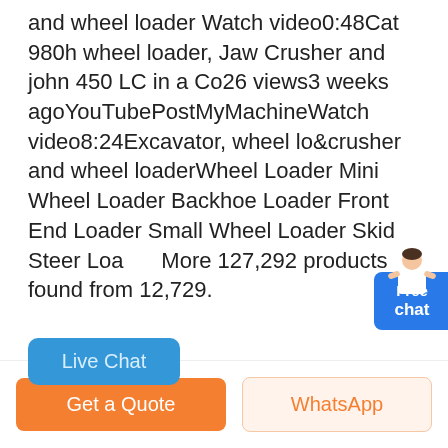and wheel loader Watch video0:48Cat 980h wheel loader, Jaw Crusher and john 450 LC in a Co26 views3 weeks agoYouTubePostMyMachineWatch video8:24Excavator, wheel lo&crusher and wheel loaderWheel Loader Mini Wheel Loader Backhoe Loader Front End Loader Small Wheel Loader Skid Steer Loader More 127,292 products found from 12,729.
[Figure (other): Blue 'Free chat' button with a customer service avatar/person graphic overlapping it, positioned at right side]
[Figure (other): Blue 'Live Chat' button, rounded rectangle]
[Figure (photo): Photo of a product (appears to be a mechanical part/filter) packed in cardboard box with bubble wrap and foam packing materials. An orange circular object is visible at the bottom right.]
[Figure (other): Bottom action bar with orange 'Get a Quote' button on left and light orange/white 'WhatsApp' button on right]